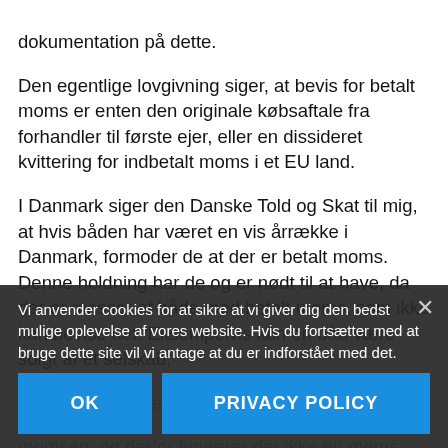dokumentation på dette.
Den egentlige lovgivning siger, at bevis for betalt moms er enten den originale købsaftale fra forhandler til første ejer, eller en dissideret kvittering for indbetalt moms i et EU land.
I Danmark siger den Danske Told og Skat til mig, at hvis båden har været en vis årrække i Danmark, formoder de at der er betalt moms. Denne holdning har de og er nødt til at have, da der er masser af både med betalt moms, som ikke kan bevise det. Eksempelvis kan en båd være solgt af et selskab, hvor selskabet ved et videresalg har indbetalt momsen, og derfor figurerer der ikke en moms kvittering på købet for den efterfølgende ejer, som ligger i selskabet og...
Og så kan man forestille sig, at en forhandler jo heller ikke sælge en ny båd til en privat person uden
Vi anvender cookies for at sikre at vi giver dig den bedst mulige oplevelse af vores website. Hvis du fortsætter med at bruge dette site vil vi antage at du er indforstået med det.